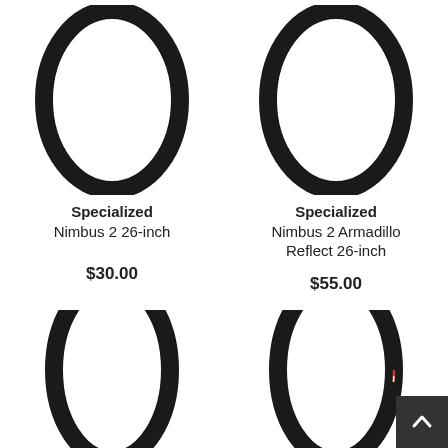[Figure (photo): Specialized Nimbus 2 26-inch bicycle tire, black, shown as a circle/ring shape]
Specialized
Nimbus 2 26-inch
$30.00
[Figure (photo): Specialized Nimbus 2 Armadillo Reflect 26-inch bicycle tire, black, shown as a circle/ring shape]
Specialized
Nimbus 2 Armadillo
Reflect 26-inch
$55.00
[Figure (photo): Bicycle tire, black, shown partially cut off at bottom of page, left side]
[Figure (photo): Bicycle tire, dark with colored stripe, shown partially cut off at bottom of page, right side]